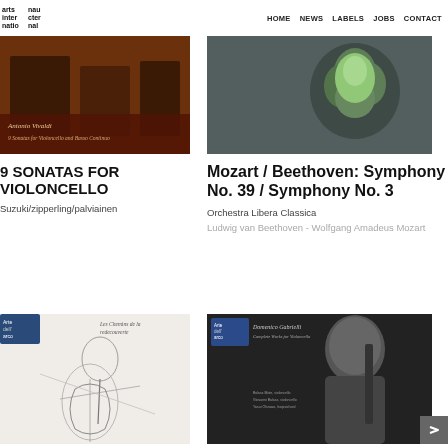HOME  NEWS  LABELS  JOBS  CONTACT
[Figure (photo): Album cover for Antonio Vivaldi 9 Sonatas for Violoncello and Basso Continuo]
9 SONATAS FOR VIOLONCELLO
Suzuki/zipperling/palviainen
[Figure (photo): Album cover for Mozart / Beethoven: Symphony No. 39 / Symphony No. 3, showing a green rose on dark background]
Mozart / Beethoven: Symphony No. 39 / Symphony No. 3
Orchestra Libera Classica
Ludwig van Beethoven - Wolfgang Amadeus Mozart
[Figure (photo): Album cover Les Chemins de la redecouverte - Arte dell'arco label, sketch-style illustration of a cellist]
[Figure (photo): Album cover Domenico Gabrielli Complete Works for Violoncello - Arte dell'arco label, woman playing cello]
Les Chemins de la...
Domenico Gabrielli...